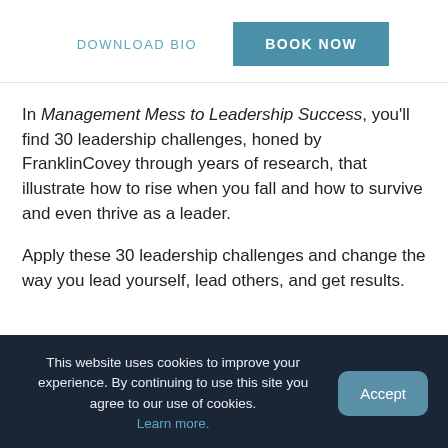DOWNLOAD BIO   BOOK NOW
In Management Mess to Leadership Success, you’ll find 30 leadership challenges, honed by FranklinCovey through years of research, that illustrate how to rise when you fall and how to survive and even thrive as a leader.
Apply these 30 leadership challenges and change the way you lead yourself, lead others, and get results.
This website uses cookies to improve your experience. By continuing to use this site you agree to our use of cookies. Learn more.